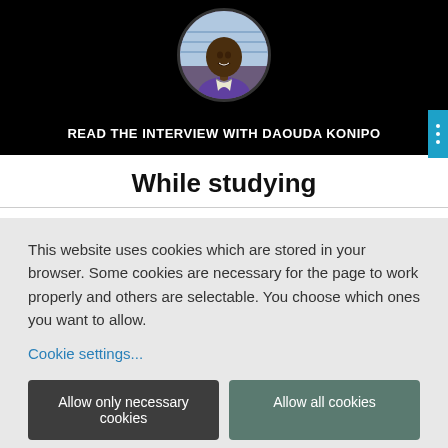[Figure (photo): Circular profile photo of Daouda Konipo on a black banner background]
READ THE INTERVIEW WITH DAOUDA KONIPO
While studying
This website uses cookies which are stored in your browser. Some cookies are necessary for the page to work properly and others are selectable. You choose which ones you want to allow.
Cookie settings...
Allow only necessary cookies
Allow all cookies